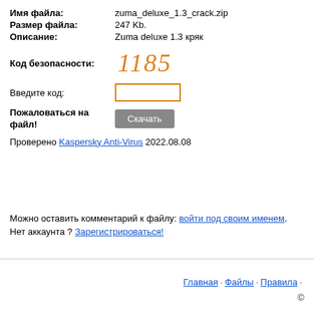| Имя файла: | zuma_deluxe_1.3_crack.zip |
| Размер файла: | 247 Kb. |
| Описание: | Zuma deluxe 1.3 кряк |
Код безопасности: 1185
Введите код:
Пожаловаться на файл! [Скачать]
Проверено Kaspersky Anti-Virus 2022.08.08
Можно оставить комментарий к файлу: войти под своим именем.
Нет аккаунта ? Зарегистрироваться!
Главная · Файлы · Правила · ©